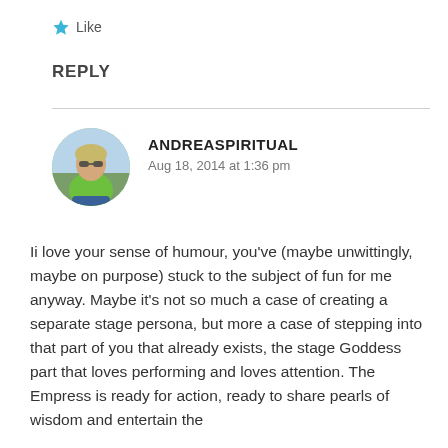[Figure (other): Star/Like button icon with Like text]
REPLY
[Figure (photo): Circular avatar photo of a woman wearing a green shirt and sunglasses, sitting outdoors]
ANDREASPIRITUAL
Aug 18, 2014 at 1:36 pm
Ii love your sense of humour, you’ve (maybe unwittingly, maybe on purpose) stuck to the subject of fun for me anyway. Maybe it’s not so much a case of creating a separate stage persona, but more a case of stepping into that part of you that already exists, the stage Goddess part that loves performing and loves attention. The Empress is ready for action, ready to share pearls of wisdom and entertain the